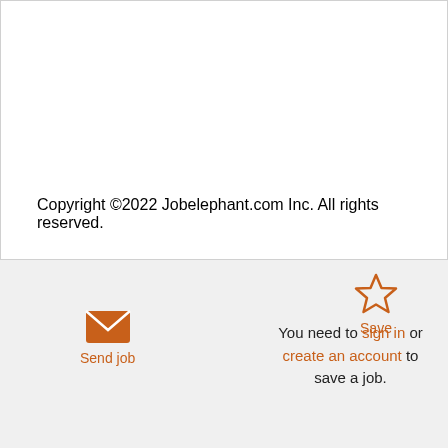Copyright ©2022 Jobelephant.com Inc. All rights reserved.
[Figure (illustration): Orange star icon (outline/unfilled) representing a save/bookmark action, with label 'Save' below it in orange text]
[Figure (illustration): Orange envelope/email icon representing 'Send job' action, with label 'Send job' below it in orange text]
You need to sign in or create an account to save a job.